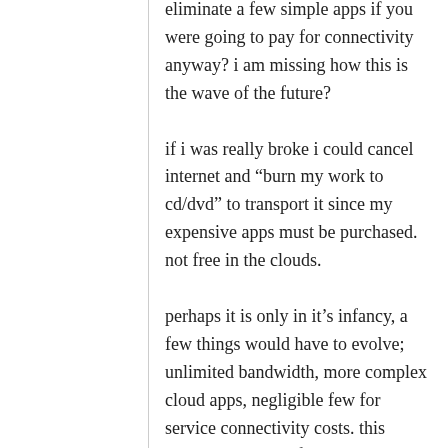eliminate a few simple apps if you were going to pay for connectivity anyway? i am missing how this is the wave of the future?
if i was really broke i could cancel internet and “burn my work to cd/dvd” to transport it since my expensive apps must be purchased. not free in the clouds.
perhaps it is only in it’s infancy, a few things would have to evolve; unlimited bandwidth, more complex cloud apps, negligible few for service connectivity costs. this would be very useful. but